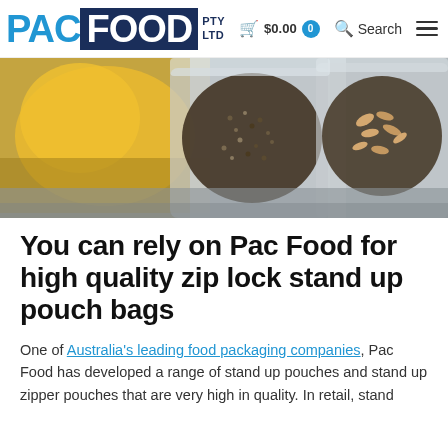PAC FOOD PTY LTD | $0.00 | Search
[Figure (photo): Photograph of three clear stand-up pouch bags filled with food products (a yellow liquid/sauce, dark seeds/spices, and mixed grains/nuts), displayed on a reflective surface.]
You can rely on Pac Food for high quality zip lock stand up pouch bags
One of Australia's leading food packaging companies, Pac Food has developed a range of stand up pouches and stand up zipper pouches that are very high in quality. In retail, stand